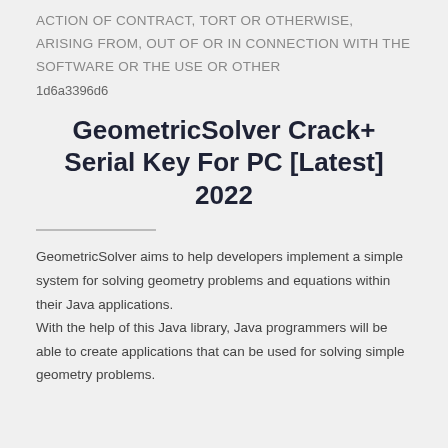ACTION OF CONTRACT, TORT OR OTHERWISE, ARISING FROM, OUT OF OR IN CONNECTION WITH THE SOFTWARE OR THE USE OR OTHER
1d6a3396d6
GeometricSolver Crack+ Serial Key For PC [Latest] 2022
GeometricSolver aims to help developers implement a simple system for solving geometry problems and equations within their Java applications.
With the help of this Java library, Java programmers will be able to create applications that can be used for solving simple geometry problems.